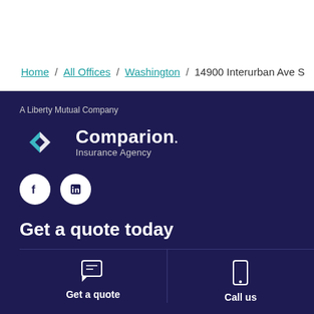Home / All Offices / Washington / 14900 Interurban Ave S
[Figure (logo): Comparion Insurance Agency logo — diamond-shaped teal/white icon with 'Comparion. Insurance Agency' text on dark navy background]
A Liberty Mutual Company
[Figure (other): Social media icons: Facebook and LinkedIn circles]
Get a quote today
[Figure (infographic): Two CTA options: 'Get a quote' with chat icon and 'Call us' with phone icon, separated by vertical line]